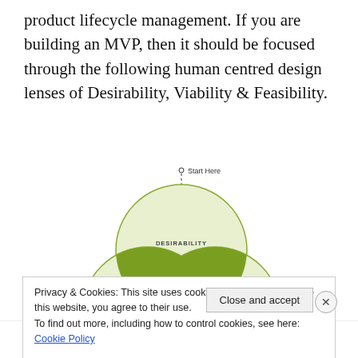product lifecycle management. If you are building an MVP, then it should be focused through the following human centred design lenses of Desirability, Viability & Feasibility.
[Figure (infographic): Venn diagram with three overlapping circles labeled DESIRABILITY (top), FEASIBILITY (bottom-left), and VIABILITY (bottom-right). The overlapping regions are shaded in olive/dark green. A dashed arrow points down from 'Start Here' label at top into the DESIRABILITY circle. The center overlap of all three circles is white/light.]
Privacy & Cookies: This site uses cookies. By continuing to use this website, you agree to their use.
To find out more, including how to control cookies, see here: Cookie Policy
Close and accept